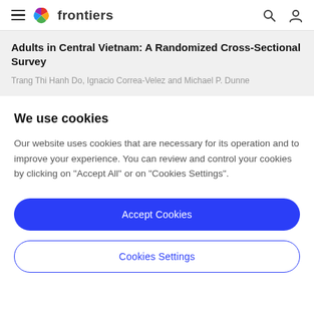frontiers
Adults in Central Vietnam: A Randomized Cross-Sectional Survey
Trang Thi Hanh Do, Ignacio Correa-Velez and Michael P. Dunne
We use cookies
Our website uses cookies that are necessary for its operation and to improve your experience. You can review and control your cookies by clicking on "Accept All" or on "Cookies Settings".
Accept Cookies
Cookies Settings